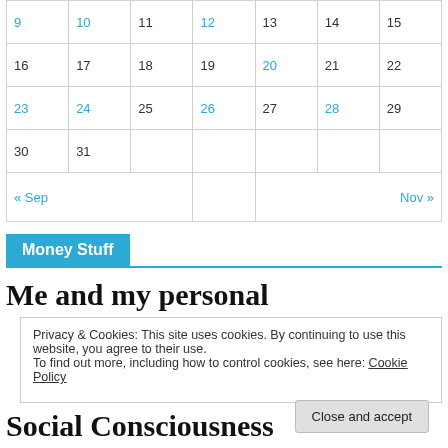| 9 | 10 | 11 | 12 | 13 | 14 | 15 |
| 16 | 17 | 18 | 19 | 20 | 21 | 22 |
| 23 | 24 | 25 | 26 | 27 | 28 | 29 |
| 30 | 31 |  |  |  |  |  |
| « Sep |  |  |  |  |  | Nov » |
Money Stuff
Me and my personal
Privacy & Cookies: This site uses cookies. By continuing to use this website, you agree to their use.
To find out more, including how to control cookies, see here: Cookie Policy
Close and accept
Social Consciousness